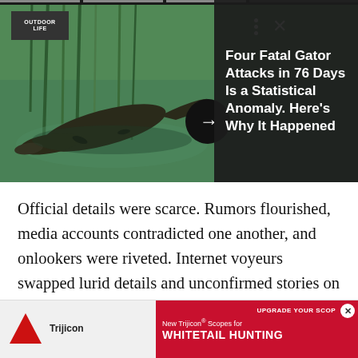[Figure (photo): Alligator swimming in green swampy water with reeds, viewed from above. Outdoor Life logo in top-left. Three-dot menu and X close button visible. Black circular arrow button overlaid on image.]
Four Fatal Gator Attacks in 76 Days Is a Statistical Anomaly. Here's Why It Happened
Official details were scarce. Rumors flourished, media accounts contradicted one another, and onlookers were riveted. Internet voyeurs swapped lurid details and unconfirmed stories on social media, and the duck hunting community was genuinely stricken by the news. Locals rallied in an outpouring of support and sympathy. All four men involved in the incident were l[ocally known and] and familie[s]
[Figure (screenshot): Advertisement banner: Trijicon New Trijicon Scopes for WHITETAIL HUNTING with red triangle logo and UPGRADE YOUR SCOPE text on red background. X close button on right.]